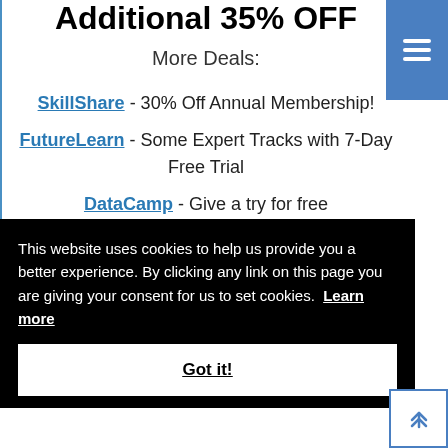Additional 35% OFF
More Deals:
SkillShare - 30% Off Annual Membership!
FutureLearn - Some Expert Tracks with 7-Day Free Trial
DataCamp - Give a try for free
This website uses cookies to help us provide you a better experience. By clicking any link on this page you are giving your consent for us to set cookies. Learn more
Got it!